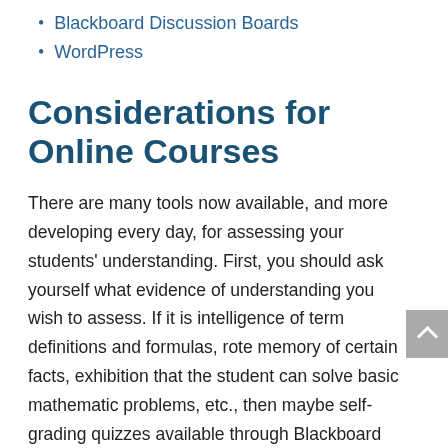Blackboard Discussion Boards
WordPress
Considerations for Online Courses
There are many tools now available, and more developing every day, for assessing your students' understanding. First, you should ask yourself what evidence of understanding you wish to assess. If it is intelligence of term definitions and formulas, rote memory of certain facts, exhibition that the student can solve basic mathematic problems, etc., then maybe self-grading quizzes available through Blackboard can best serve that purpose.